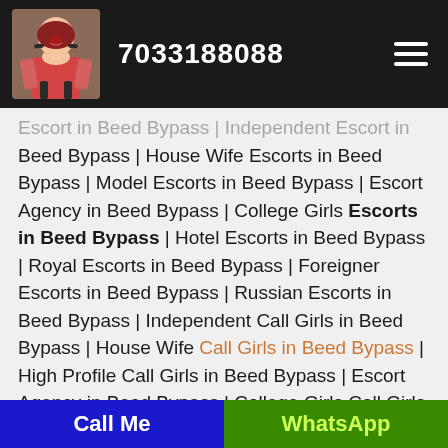7033188088
Escort in Beed Bypass | Independent Escort in Beed Bypass | House Wife Escorts in Beed Bypass | Model Escorts in Beed Bypass | Escort Agency in Beed Bypass | College Girls Escorts in Beed Bypass | Hotel Escorts in Beed Bypass | Royal Escorts in Beed Bypass | Foreigner Escorts in Beed Bypass | Russian Escorts in Beed Bypass | Independent Call Girls in Beed Bypass | House Wife Call Girls in Beed Bypass | High Profile Call Girls in Beed Bypass | Escort Agency in Beed Bypass | College Girls Call Girls in Beed Bypass | Hotel Call Girls in Beed Bypass | Royal Call Girls
Call Me | WhatsApp